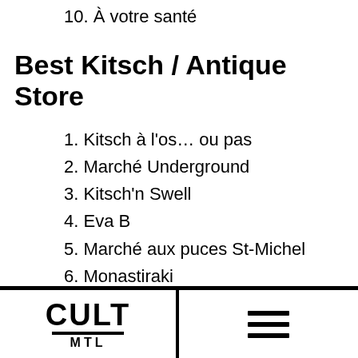10. À votre santé
Best Kitsch / Antique Store
1. Kitsch à l'os… ou pas
2. Marché Underground
3. Kitsch'n Swell
4. Eva B
5. Marché aux puces St-Michel
6. Monastiraki
7. Renaissance
CULT MTL [hamburger menu]